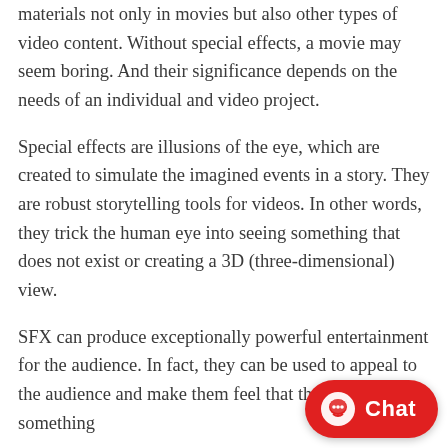materials not only in movies but also other types of video content. Without special effects, a movie may seem boring. And their significance depends on the needs of an individual and video project.
Special effects are illusions of the eye, which are created to simulate the imagined events in a story. They are robust storytelling tools for videos. In other words, they trick the human eye into seeing something that does not exist or creating a 3D (three-dimensional) view.
SFX can produce exceptionally powerful entertainment for the audience. In fact, they can be used to appeal to the audience and make them feel that they are watching something